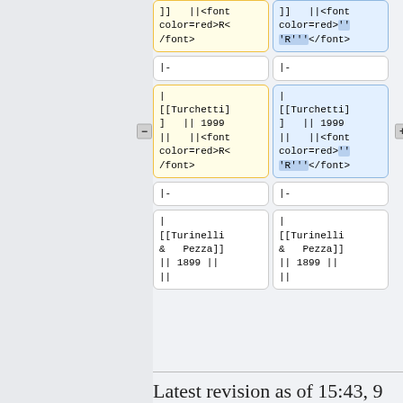]] ||<font color=red>R</font>
]] ||<font color=red>'''R'''</font>
|-
|-
| [[Turchetti] ] || 1999 || ||<font color=red>R</font>
| [[Turchetti] ] || 1999 || ||<font color=red>'''R'''</font>
|-
|-
| [[Turinelli & Pezza]] || 1899 || ||
| [[Turinelli & Pezza]] || 1899 || ||
Latest revision as of 15:43, 9